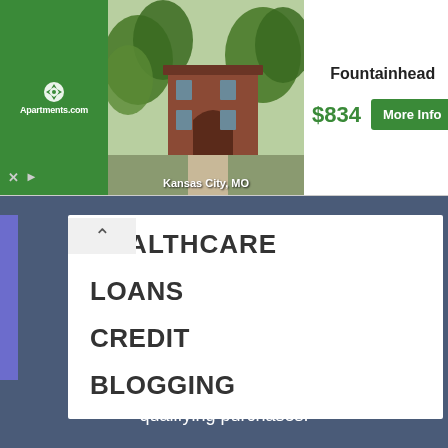[Figure (screenshot): Apartments.com advertisement banner showing Fountainhead apartment in Kansas City, MO for $834 with a More Info button and a photo of a brick building]
HEALTHCARE
LOANS
CREDIT
BLOGGING
As an Amazon Associate we earn from qualifying purchases.